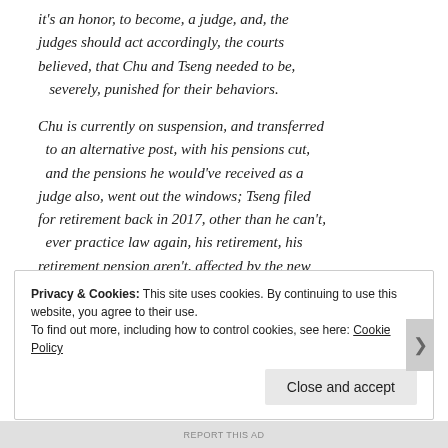it's an honor, to become, a judge, and, the judges should act accordingly, the courts believed, that Chu and Tseng needed to be, severely, punished for their behaviors.
Chu is currently on suspension, and transferred to an alternative post, with his pensions cut, and the pensions he would've received as a judge also, went out the windows; Tseng filed for retirement back in 2017, other than he can't, ever practice law again, his retirement, his retirement pension aren't, affected by the new laws to restrict the behaviors of the judges.
Privacy & Cookies: This site uses cookies. By continuing to use this website, you agree to their use.
To find out more, including how to control cookies, see here: Cookie Policy
Close and accept
REPORT THIS AD